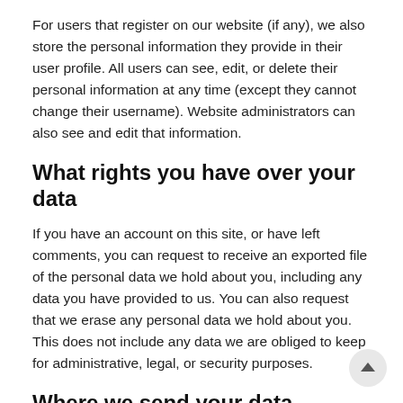For users that register on our website (if any), we also store the personal information they provide in their user profile. All users can see, edit, or delete their personal information at any time (except they cannot change their username). Website administrators can also see and edit that information.
What rights you have over your data
If you have an account on this site, or have left comments, you can request to receive an exported file of the personal data we hold about you, including any data you have provided to us. You can also request that we erase any personal data we hold about you. This does not include any data we are obliged to keep for administrative, legal, or security purposes.
Where we send your data